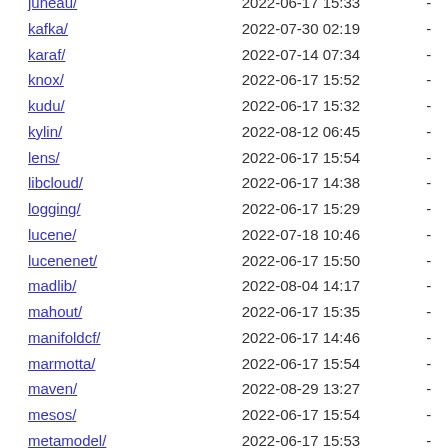| Name | Last modified | Size |
| --- | --- | --- |
| juneau/ | 2022-06-17 15:33 | - |
| kafka/ | 2022-07-30 02:19 | - |
| karaf/ | 2022-07-14 07:34 | - |
| knox/ | 2022-06-17 15:52 | - |
| kudu/ | 2022-06-17 15:32 | - |
| kylin/ | 2022-08-12 06:45 | - |
| lens/ | 2022-06-17 15:54 | - |
| libcloud/ | 2022-06-17 14:38 | - |
| logging/ | 2022-06-17 15:29 | - |
| lucene/ | 2022-07-18 10:46 | - |
| lucenenet/ | 2022-06-17 15:50 | - |
| madlib/ | 2022-08-04 14:17 | - |
| mahout/ | 2022-06-17 15:35 | - |
| manifoldcf/ | 2022-06-17 14:46 | - |
| marmotta/ | 2022-06-17 15:54 | - |
| maven/ | 2022-08-29 13:27 | - |
| mesos/ | 2022-06-17 15:54 | - |
| metamodel/ | 2022-06-17 15:53 | - |
| metron/ | 2022-06-17 15:54 | - |
| mina/ | 2022-07-19 12:49 | - |
| mnemonic/ | 2022-06-17 14:46 | - |